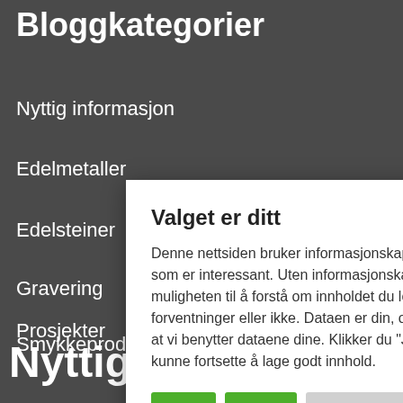Bloggkategorier
Nyttig informasjon
Edelmetaller
Edelsteiner
Gravering
Smykkeprodukter
Prosjekter
Nyttige l
Valget er ditt
Denne nettsiden bruker informasjonskapsler for å lage innhold som er interessant. Uten informasjonskapsler mister vi muligheten til å forstå om innholdet du leser møter dine forventninger eller ikke. Dataen er din, og valger er ditt til å avslå at vi benytter dataene dine. Klikker du "Ja" støtter du oss i å kunne fortsette å lage godt innhold.
Ja | Nei | Innstillinger